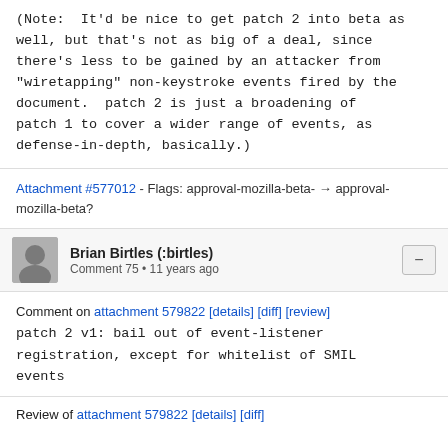(Note: It'd be nice to get patch 2 into beta as well, but that's not as big of a deal, since there's less to be gained by an attacker from "wiretapping" non-keystroke events fired by the document. patch 2 is just a broadening of patch 1 to cover a wider range of events, as defense-in-depth, basically.)
Attachment #577012 - Flags: approval-mozilla-beta- → approval-mozilla-beta?
Brian Birtles (:birtles)
Comment 75 • 11 years ago
Comment on attachment 579822 [details] [diff] [review]
patch 2 v1: bail out of event-listener registration, except for whitelist of SMIL events
Review of attachment 579822 [details] [diff]